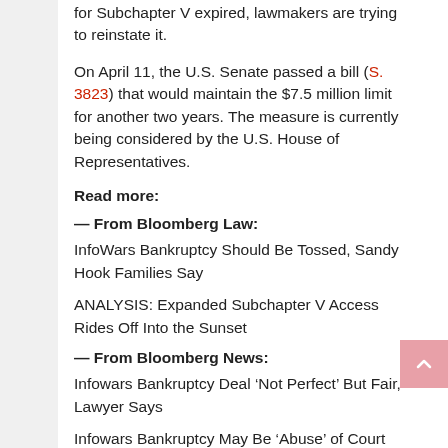for Subchapter V expired, lawmakers are trying to reinstate it.
On April 11, the U.S. Senate passed a bill (S. 3823) that would maintain the $7.5 million limit for another two years. The measure is currently being considered by the U.S. House of Representatives.
Read more:
— From Bloomberg Law:
InfoWars Bankruptcy Should Be Tossed, Sandy Hook Families Say
ANALYSIS: Expanded Subchapter V Access Rides Off Into the Sunset
— From Bloomberg News:
Infowars Bankruptcy Deal ‘Not Perfect’ But Fair, Lawyer Says
Infowars Bankruptcy May Be ‘Abuse’ of Court Rules, DOJ